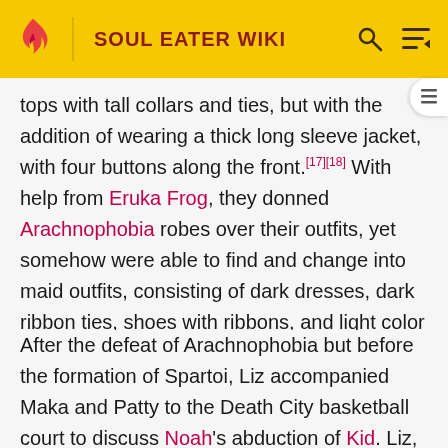SOUL EATER WIKI
tops with tall collars and ties, but with the addition of wearing a thick long sleeve jacket, with four buttons along the front.[17][18] With help from Eruka Frog, they donned Arachnophobia robes over their outfits, yet somehow were able to find and change into maid outfits, consisting of dark dresses, dark ribbon ties, shoes with ribbons, and light color maids' aprons and hats. They retained these outfits for the rest of their mission infiltrating Baba Yaga Castle, even when wearing Arachnophobia robes over these outfits.[19]
After the defeat of Arachnophobia but before the formation of Spartoi, Liz accompanied Maka and Patty to the Death City basketball court to discuss Noah's abduction of Kid. Liz, Patty, and Maka wore similar attire: